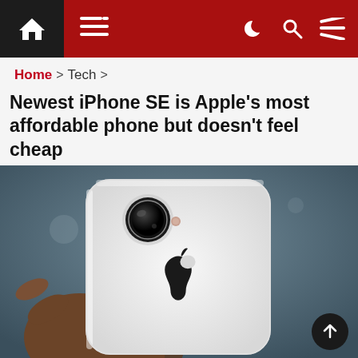Navigation bar with home icon, menu icon, dark mode, search, and settings icons
Home > Tech >
Newest iPhone SE is Apple's most affordable phone but doesn't feel cheap
[Figure (photo): A hand holding the back of a white iPhone SE, showing the rear camera and Apple logo, against a dark blueish-grey background.]